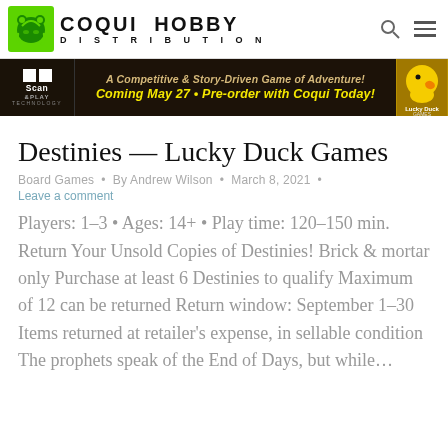[Figure (logo): Coqui Hobby Distribution logo with green frog icon and bold text]
[Figure (infographic): Banner ad for Lucky Duck Games: A Competitive & Story-Driven Game of Adventure! Coming May 27 • Pre-order with Coqui Today!]
Destinies — Lucky Duck Games
Board Games • By Andrew Wilson • March 8, 2021 •
Leave a comment
Players: 1–3 • Ages: 14+ • Play time: 120–150 min. Return Your Unsold Copies of Destinies! Brick & mortar only Purchase at least 6 Destinies to qualify Maximum of 12 can be returned Return window: September 1–30 Items returned at retailer's expense, in sellable condition The prophets speak of the End of Days, but while…